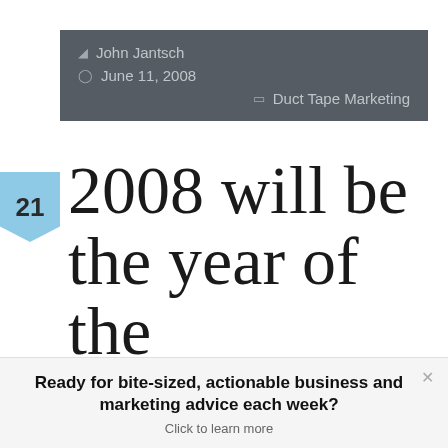John Jantsch · June 11, 2008 · Duct Tape Marketing
2008 will be the year of the personalized social business
Ready for bite-sized, actionable business and marketing advice each week? Click to learn more